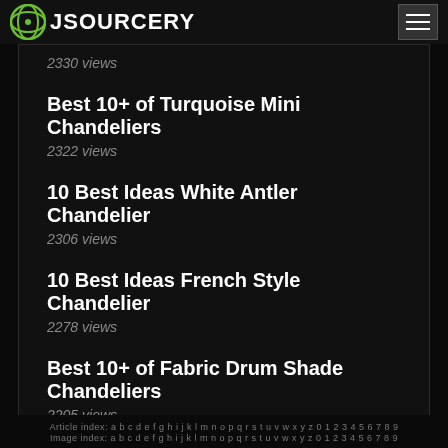JSOURCERY
2330 views
Best 10+ of Turquoise Mini Chandeliers
2322 views
10 Best Ideas White Antler Chandelier
2306 views
10 Best Ideas French Style Chandelier
2278 views
Best 10+ of Fabric Drum Shade Chandeliers
2205 views
Article index: a b c d e f g h i j k l m n o p q r s t u v w x y z 0 1 2 3 4 5 6 7 8 9
Image index: a b c d e f g h i j k l m n o p q r s t u v w x y z 0 1 2 3 4 5 6 7 8 9